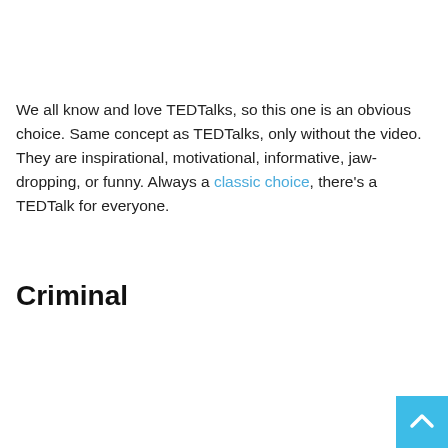We all know and love TEDTalks, so this one is an obvious choice. Same concept as TEDTalks, only without the video. They are inspirational, motivational, informative, jaw-dropping, or funny. Always a classic choice, there's a TEDTalk for everyone.
Criminal